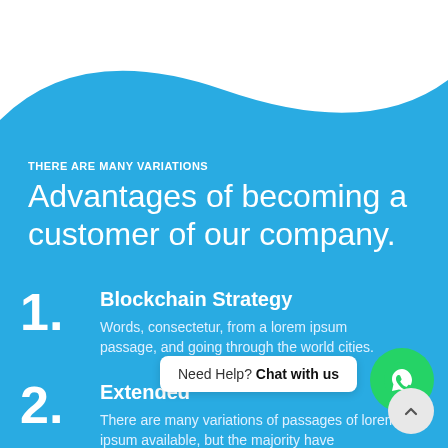THERE ARE MANY VARIATIONS
Advantages of becoming a customer of our company.
1. Blockchain Strategy
Words, consectetur, from a lorem ipsum passage, and going through the world cities.
2. Extended
There are many variations of passages of lorem ipsum available, but the majority have